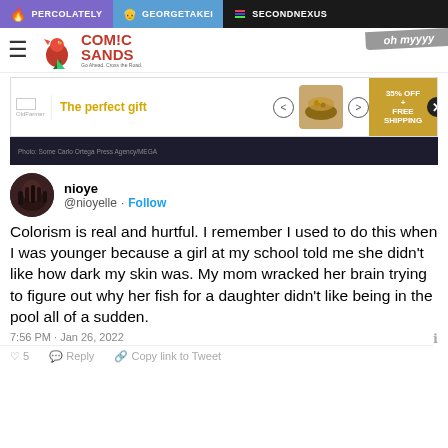PERCOLATELY | GEORGETAKEI | SECONDNEXUS
[Figure (logo): Comic Sands logo with rooster and red text]
[Figure (screenshot): Advertisement banner: The perfect gift, 35% OFF + FREE SHIPPING]
[Figure (photo): Dark background image with photo credit text]
nioye
@nioyelle · Follow

Colorism is real and hurtful. I remember I used to do this when I was younger because a girl at my school told me she didn't like how dark my skin was. My mom wracked her brain trying to figure out why her fish for a daughter didn't like being in the pool all of a sudden.
7:56 PM · Jan 26, 2022
♡ 5   Reply   Copy link to Tweet